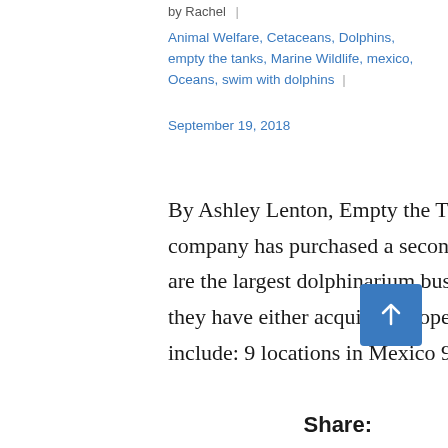by Rachel |
Animal Welfare, Cetaceans, Dolphins, empty the tanks, Marine Wildlife, mexico, Oceans, swim with dolphins |
September 19, 2018
By Ashley Lenton, Empty the Tanks Dolphin Discovery, a Mexico based company has purchased a second dolphin attraction in the United States. They are the largest dolphinarium business in the world. Since their opening in 1994, they have either acquired or opened 24 dolphin facilities. Their locations include: 9 locations in Mexico 9 locations on Caribbean Islands 3 locations in…
Share: